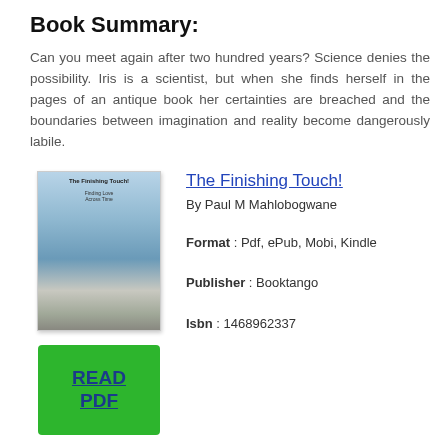Book Summary:
Can you meet again after two hundred years? Science denies the possibility. Iris is a scientist, but when she finds herself in the pages of an antique book her certainties are breached and the boundaries between imagination and reality become dangerously labile.
[Figure (photo): Book cover of 'The Finishing Touch!' by Paul M Mahlobogwane, showing a scenic river or lake landscape with water and rocks, with title text at the top.]
READ PDF
The Finishing Touch!
By Paul M Mahlobogwane
Format : Pdf, ePub, Mobi, Kindle
Publisher : Booktango
Isbn : 1468962337